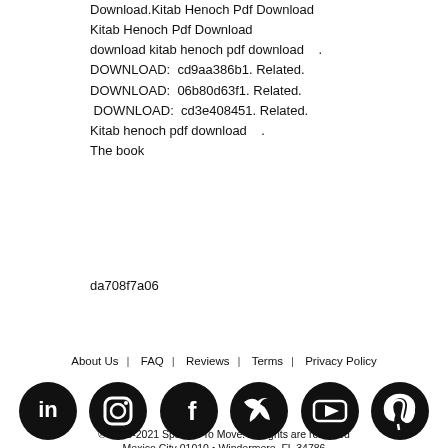Download.Kitab Henoch Pdf Download
Kitab Henoch Pdf Download
download kitab henoch pdf download   .
DOWNLOAD:  cd9aa386b1. Related.
DOWNLOAD:  06b80d63f1. Related.
 DOWNLOAD:  cd3e408451. Related.
Kitab henoch pdf download   .
The book
da708f7a06
About Us   FAQ   Reviews   Terms   Privacy Policy
[Figure (illustration): Row of six social media icon circles (LinkedIn, Instagram, Facebook, Twitter, YouTube, Pinterest) in black]
® 2013-2021 Spanish To Move. All rights are reserved
Mexico City 01010 • Windermere, FL 34786